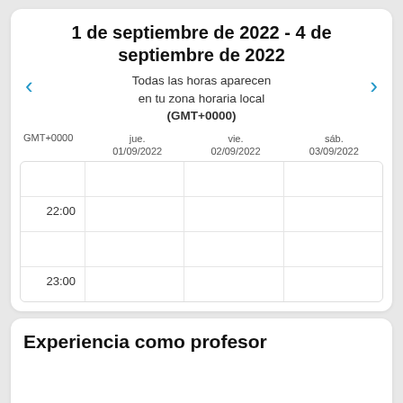1 de septiembre de 2022 - 4 de septiembre de 2022
Todas las horas aparecen en tu zona horaria local (GMT+0000)
| GMT+0000 | jue. 01/09/2022 | vie. 02/09/2022 | sáb. 03/09/2022 |
| --- | --- | --- | --- |
|  |  |  |  |
| 22:00 |  |  |  |
|  |  |  |  |
| 23:00 |  |  |  |
Experiencia como profesor
Reserva una prueba gratuita
Principiante